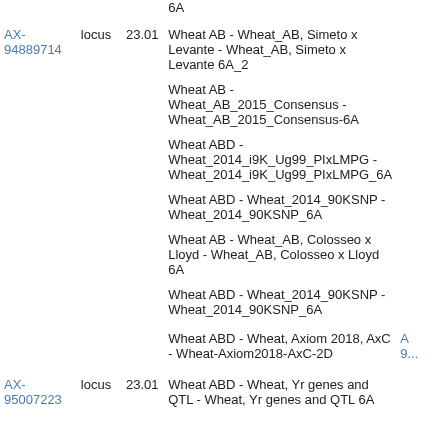| ID | Type | Position | Map Name | Extra |
| --- | --- | --- | --- | --- |
| AX-94889714 | locus | 23.01 | 6A |  |
| AX-94889714 | locus | 23.01 | Wheat AB - Wheat_AB, Simeto x Levante - Wheat_AB, Simeto x Levante 6A_2 |  |
|  |  |  | Wheat AB - Wheat_AB_2015_Consensus - Wheat_AB_2015_Consensus-6A |  |
|  |  |  | Wheat ABD - Wheat_2014_i9K_Ug99_PIxLMPG - Wheat_2014_i9K_Ug99_PIxLMPG_6A |  |
|  |  |  | Wheat ABD - Wheat_2014_90KSNP - Wheat_2014_90KSNP_6A |  |
|  |  |  | Wheat AB - Wheat_AB, Colosseo x Lloyd - Wheat_AB, Colosseo x Lloyd 6A |  |
|  |  |  | Wheat ABD - Wheat_2014_90KSNP - Wheat_2014_90KSNP_6A |  |
|  |  |  | Wheat ABD - Wheat, Axiom 2018, AxC - Wheat-Axiom2018-AxC-2D | A 9... |
| AX-95007223 | locus | 23.01 | Wheat ABD - Wheat, Yr genes and QTL - Wheat, Yr genes and QTL 6A |  |